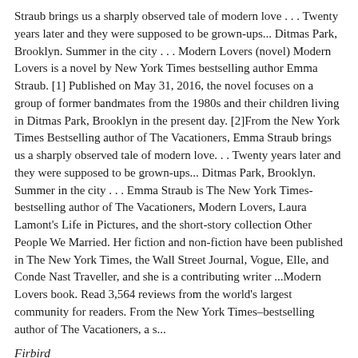Straub brings us a sharply observed tale of modern love . . . Twenty years later and they were supposed to be grown-ups... Ditmas Park, Brooklyn. Summer in the city . . . Modern Lovers (novel) Modern Lovers is a novel by New York Times bestselling author Emma Straub. [1] Published on May 31, 2016, the novel focuses on a group of former bandmates from the 1980s and their children living in Ditmas Park, Brooklyn in the present day. [2]From the New York Times Bestselling author of The Vacationers, Emma Straub brings us a sharply observed tale of modern love. . . Twenty years later and they were supposed to be grown-ups... Ditmas Park, Brooklyn. Summer in the city . . . Emma Straub is The New York Times-bestselling author of The Vacationers, Modern Lovers, Laura Lamont's Life in Pictures, and the short-story collection Other People We Married. Her fiction and non-fiction have been published in The New York Times, the Wall Street Journal, Vogue, Elle, and Conde Nast Traveller, and she is a contributing writer ...Modern Lovers book. Read 3,564 reviews from the world's largest community for readers. From the New York Times–bestselling author of The Vacationers, a s...
Firbird
Beautiful danielle steele
Lemons book
Buy grapes of wrath